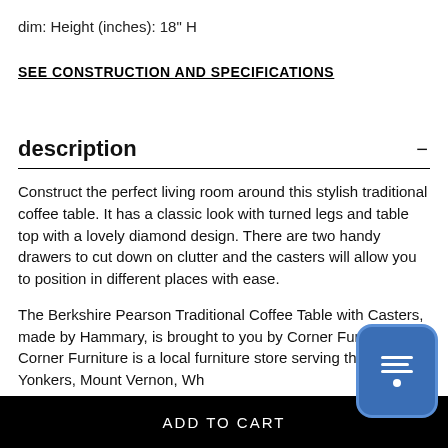dim: Height (inches): 18" H
SEE CONSTRUCTION AND SPECIFICATIONS
description
Construct the perfect living room around this stylish traditional coffee table. It has a classic look with turned legs and table top with a lovely diamond design. There are two handy drawers to cut down on clutter and the casters will allow you to position in different places with ease.
The Berkshire Pearson Traditional Coffee Table with Casters, made by Hammary, is brought to you by Corner Furniture. Corner Furniture is a local furniture store serving the Bronx, Yonkers, Mount Vernon, Wh...
ADD TO CART